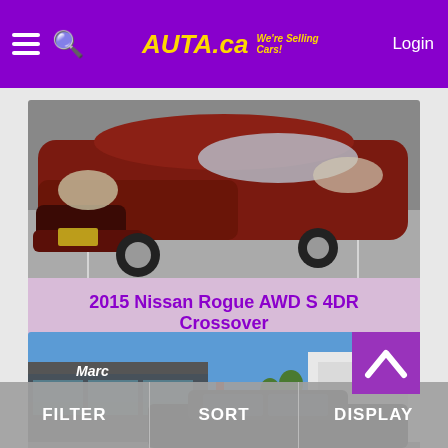AUTA.ca We're Selling Cars! Login
[Figure (photo): Front view of a 2015 Nissan Rogue AWD S 4DR Crossover in dark red/maroon color, photographed in a parking lot]
2015 Nissan Rogue AWD S 4DR Crossover
[Figure (photo): Photo of a dealership exterior with blue sky, showing Marc dealership signage and a dark pickup truck in the foreground]
FILTER    SORT    DISPLAY